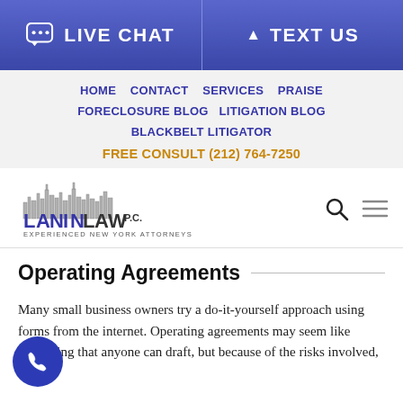LIVE CHAT   TEXT US
HOME   CONTACT   SERVICES   PRAISE   FORECLOSURE BLOG   LITIGATION BLOG   BLACKBELT LITIGATOR
FREE CONSULT (212) 764-7250
[Figure (logo): Lanin Law P.C. logo with New York skyline silhouette. Text: LANIN LAW P.C. EXPERIENCED NEW YORK ATTORNEYS]
Operating Agreements
Many small business owners try a do-it-yourself approach using forms from the internet. Operating agreements may seem like something that anyone can draft, but because of the risks involved, an